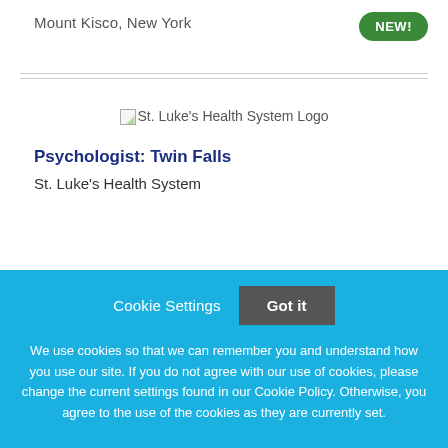Mount Kisco, New York
[Figure (logo): St. Luke's Health System Logo (broken image placeholder with text)]
Psychologist: Twin Falls
St. Luke's Health System
Cookie Settings  Got it
We use cookies so that we can remember you and understand how you use our site. If you do not agree with our use of cookies, please change the current settings found in our Cookie Policy. Otherwise, you agree to the use of the cookies as they are currently set.